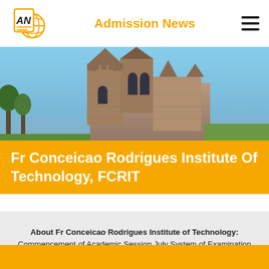Admission News
[Figure (photo): Gothic cathedral building with spires against a blue sky, green lawn visible at bottom left]
Fr Conceicao Rodrigues Institute Of Technology, FCRIT
About Fr Conceicao Rodrigues Institute of Technology: Commencement of Academic Session July System of Examination Semester Faculty strength Professors 2 Asst. Professors 9 Lecturers 47 visiting 5. To know more about Fr Conceicao Rodrigues Institute of Technology, please contact us by clicking below